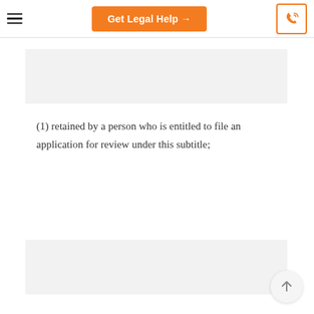Get Legal Help →
[Figure (other): Grey placeholder block at top of content area]
(1) retained by a person who is entitled to file an application for review under this subtitle;
[Figure (other): Grey placeholder block at bottom of content area]